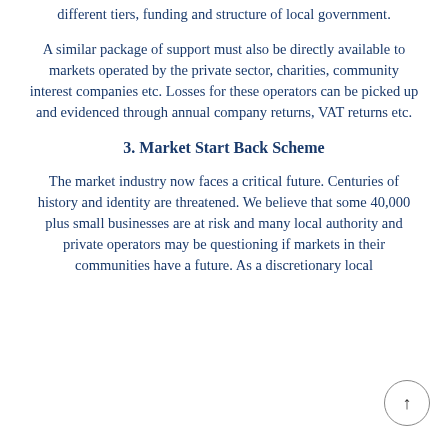different tiers, funding and structure of local government.
A similar package of support must also be directly available to markets operated by the private sector, charities, community interest companies etc. Losses for these operators can be picked up and evidenced through annual company returns, VAT returns etc.
3. Market Start Back Scheme
The market industry now faces a critical future. Centuries of history and identity are threatened. We believe that some 40,000 plus small businesses are at risk and many local authority and private operators may be questioning if markets in their communities have a future. As a discretionary local